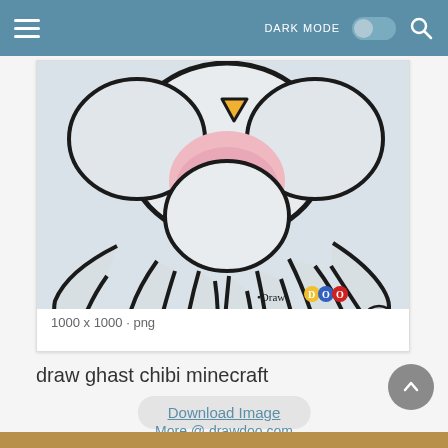DARK MODE [toggle] [search]
[Figure (illustration): Chibi-style drawing of a Minecraft Ghast character — a white fluffy ghost creature with tentacle-like appendages, yellow beak/muzzle, pink body area, and black outlines. DrawDoo watermark in bottom right corner. Image is 1000 x 1000 png.]
1000 x 1000 · png
draw ghast chibi minecraft
Download Image
More @ drawdoo.com